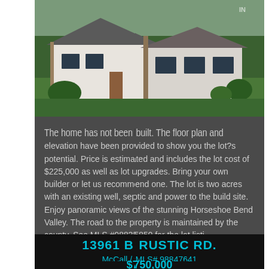[Figure (photo): Exterior photo of a modern farmhouse-style home with green lawn, shrubs, and landscaping. The home features light colored siding with dark window frames and wood accents.]
The home has not been built. The floor plan and elevation have been provided to show you the lot?s potential. Price is estimated and includes the lot cost of $225,000 as well as lot upgrades. Bring your own builder or let us recommend one. The lot is two acres with an existing well, septic and power to the build site. Enjoy panoramic views of the stunning Horseshoe Bend Valley. The road to the property is maintained by the county. See MLS #98835850 for the lot listi...
13961 B RUSTIC RD.
McCall / MLS# 98847641
$750,000